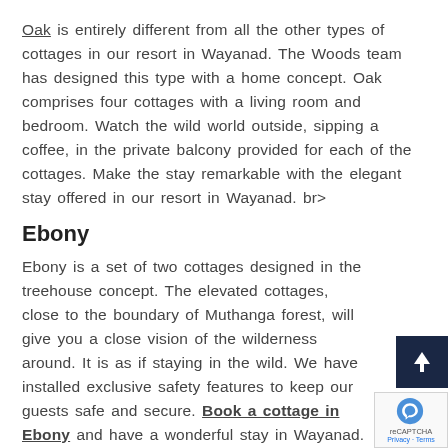Oak is entirely different from all the other types of cottages in our resort in Wayanad. The Woods team has designed this type with a home concept. Oak comprises four cottages with a living room and bedroom. Watch the wild world outside, sipping a coffee, in the private balcony provided for each of the cottages. Make the stay remarkable with the elegant stay offered in our resort in Wayanad. br>
Ebony
Ebony is a set of two cottages designed in the treehouse concept. The elevated cottages, close to the boundary of Muthanga forest, will give you a close vision of the wilderness around. It is as if staying in the wild. We have installed exclusive safety features to keep our guests safe and secure. Book a cottage in Ebony and have a wonderful stay in Wayanad.